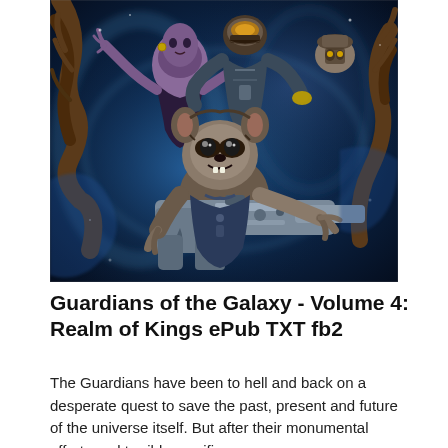[Figure (illustration): Comic book style illustration of Guardians of the Galaxy characters including a raccoon holding a large futuristic gun, a bald blue-skinned female, an armored alien, and a tree-like creature, set against a blue cosmic background.]
Guardians of the Galaxy - Volume 4: Realm of Kings ePub TXT fb2
The Guardians have been to hell and back on a desperate quest to save the past, present and future of the universe itself. But after their monumental efforts and terrible sacrifi